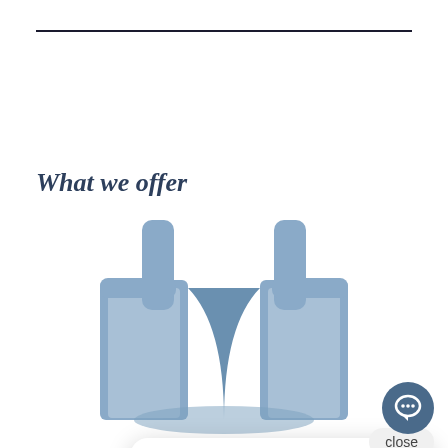What we offer
[Figure (screenshot): A live chat popup widget showing a woman's avatar and the message 'Hi there, have a question? Chat with us here.' with a close button and a chat icon button. Below is a decorative illustration of open books in blue.]